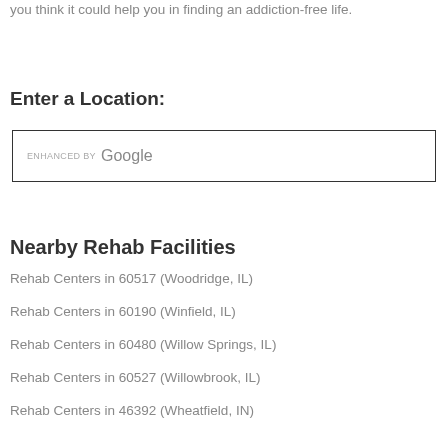you think it could help you in finding an addiction-free life.
Enter a Location:
[Figure (other): Search input box with 'ENHANCED BY Google' branding]
Nearby Rehab Facilities
Rehab Centers in 60517 (Woodridge, IL)
Rehab Centers in 60190 (Winfield, IL)
Rehab Centers in 60480 (Willow Springs, IL)
Rehab Centers in 60527 (Willowbrook, IL)
Rehab Centers in 46392 (Wheatfield, IN)